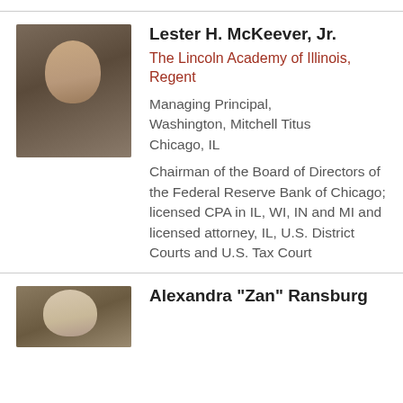[Figure (photo): Portrait photo of Lester H. McKeever, Jr., an African American man in a dark suit and tie, smiling]
Lester H. McKeever, Jr.
The Lincoln Academy of Illinois, Regent
Managing Principal, Washington, Mitchell Titus Chicago, IL
Chairman of the Board of Directors of the Federal Reserve Bank of Chicago; licensed CPA in IL, WI, IN and MI and licensed attorney, IL, U.S. District Courts and U.S. Tax Court
[Figure (photo): Portrait photo of Alexandra "Zan" Ransburg, a woman with light hair]
Alexandra "Zan" Ransburg